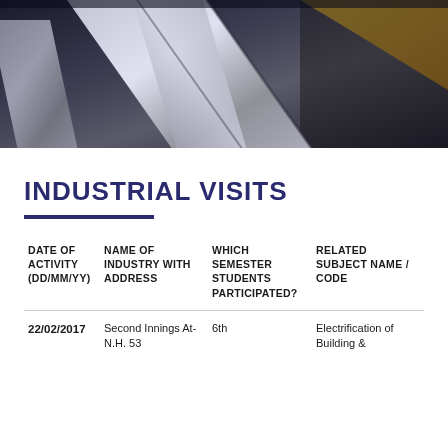[Figure (photo): Industrial/engineering photo showing metal pipes or structural metal components with yellow and dark background]
INDUSTRIAL VISITS
| DATE OF ACTIVITY (DD/MM/YY) | NAME OF INDUSTRY WITH ADDRESS | WHICH SEMESTER STUDENTS PARTICIPATED? | RELATED SUBJECT NAME / CODE |
| --- | --- | --- | --- |
| 22/02/2017 | Second Innings At-N.H. 53 | 6th | Electrification of Building & |